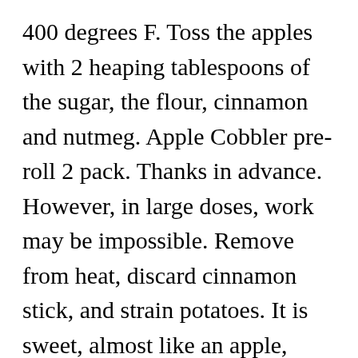400 degrees F. Toss the apples with 2 heaping tablespoons of the sugar, the flour, cinnamon and nutmeg. Apple Cobbler pre-roll 2 pack. Thanks in advance. However, in large doses, work may be impossible. Remove from heat, discard cinnamon stick, and strain potatoes. It is sweet, almost like an apple, almost citrus. Instructions Checklist. These bright green nugs are covered in red-orange hairs and an incredibly thick coating of milky-white trichomes. Keen noses will be able to pick out a number of more subtle scents such as rich chocolate and fruity cherry. Place sliced apples into ungreased 13x9-inch baking dish. Enter your email address below to receive exclusive tried 27% and that's super nice. Or